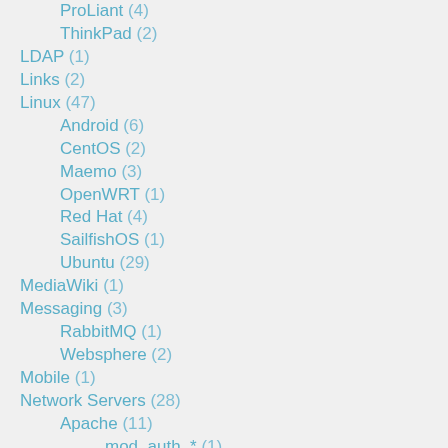ProLiant (4)
ThinkPad (2)
LDAP (1)
Links (2)
Linux (47)
Android (6)
CentOS (2)
Maemo (3)
OpenWRT (1)
Red Hat (4)
SailfishOS (1)
Ubuntu (29)
MediaWiki (1)
Messaging (3)
RabbitMQ (1)
Websphere (2)
Mobile (1)
Network Servers (28)
Apache (11)
mod_auth_* (1)
mod_dir (1)
mod_rewrite (1)
mod_wsgi (2)